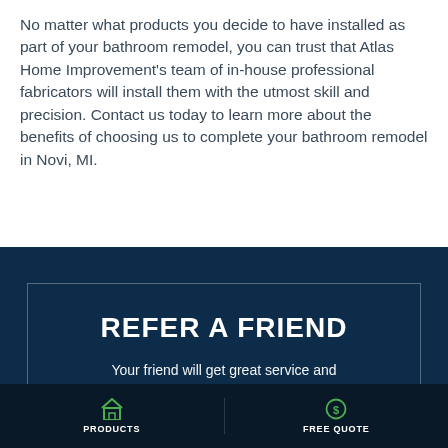No matter what products you decide to have installed as part of your bathroom remodel, you can trust that Atlas Home Improvement's team of in-house professional fabricators will install them with the utmost skill and precision. Contact us today to learn more about the benefits of choosing us to complete your bathroom remodel in Novi, MI.
[Figure (infographic): Dark navy blue banner with inner border outline. Contains heading 'REFER A FRIEND' in bold white uppercase text, subtext 'Your friend will get great service and you'll get fun rewards. It's a win-win!', and a partially visible button at the bottom.]
PRODUCTS | FREE QUOTE